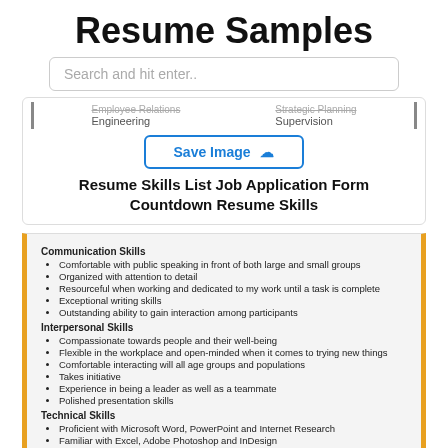Resume Samples
Search and hit enter..
Employee relations / Engineering | Strategic Planning / Supervision
Save Image
Resume Skills List Job Application Form Countdown Resume Skills
Communication Skills
Comfortable with public speaking in front of both large and small groups
Organized with attention to detail
Resourceful when working and dedicated to my work until a task is complete
Exceptional writing skills
Outstanding ability to gain interaction among participants
Interpersonal Skills
Compassionate towards people and their well-being
Flexible in the workplace and open-minded when it comes to trying new things
Comfortable interacting will all age groups and populations
Takes initiative
Experience in being a leader as well as a teammate
Polished presentation skills
Technical Skills
Proficient with Microsoft Word, PowerPoint and Internet Research
Familiar with Excel, Adobe Photoshop and InDesign
Produced a large scale publication for a large audience
Proficient with iMovie editing software
Answer multi-lined phones and schedule appointments